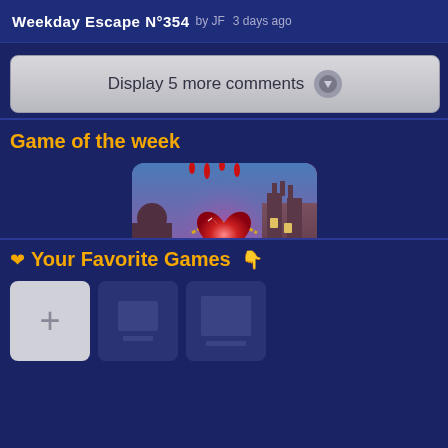Weekday Escape N°334  by JF  3 days ago
Display 5 more comments
Game of the week
[Figure (illustration): Dark Romance: Vampire Origins Collector's Edition game cover art showing a glowing red gemstone heart with gold chain against a fantasy castle background with purple and teal sky]
Your Favorite Games
[Figure (other): Add favorite game button (plus icon in gray box) and partial placeholder game thumbnails below]